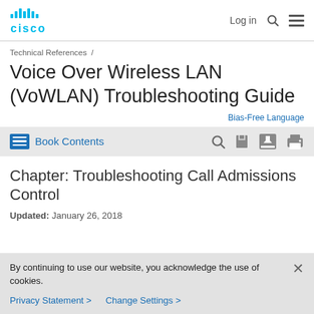[Figure (logo): Cisco logo with stylized bars and 'cisco' text in cyan/teal color]
Log in  🔍  ☰
Technical References  /
Voice Over Wireless LAN (VoWLAN) Troubleshooting Guide
Bias-Free Language
Book Contents
Chapter: Troubleshooting Call Admissions Control
Updated: January 26, 2018
By continuing to use our website, you acknowledge the use of cookies.
Privacy Statement > Change Settings >